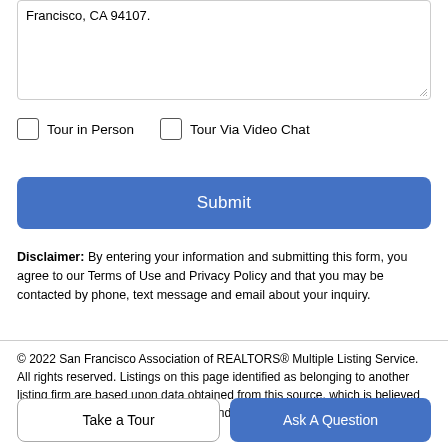Francisco, CA 94107.
Tour in Person
Tour Via Video Chat
Submit
Disclaimer: By entering your information and submitting this form, you agree to our Terms of Use and Privacy Policy and that you may be contacted by phone, text message and email about your inquiry.
© 2022 San Francisco Association of REALTORS® Multiple Listing Service. All rights reserved. Listings on this page identified as belonging to another listing firm are based upon data obtained from this source, which is believed to be reliable but has not been independently verified.
Take a Tour
Ask A Question